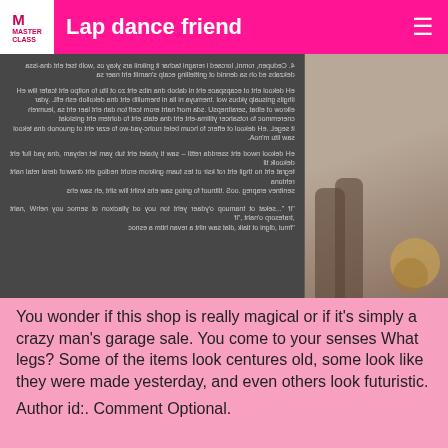Lap dance friend
[Figure (screenshot): A mirrored/reversed page of text overlaid on a dark background, alongside a partial photo of a person's legs and a decorative basket/object on the right side.]
You wonder if this shop is really magical or if it's simply a crazy man's garage sale. You come to your senses What legs? Some of the items look centures old, some look like they were made yesterday, and even others look futuristic.
Author id:. Comment Optional.